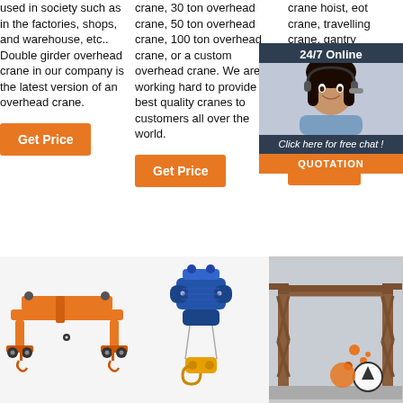used in society such as in the factories, shops, and warehouse, etc.. Double girder overhead crane in our company is the latest version of an overhead crane.
Get Price
crane, 30 ton overhead crane, 50 ton overhead crane, 100 ton overhead crane, or a custom overhead crane. We are working hard to provide the best quality cranes to customers all over the world.
Get Price
crane hoist, eot crane, travelling crane, gantry crane,jib crane, material handling equipme... crane e... manufa... Turkey. 332 248 .
Get P...
[Figure (photo): 24/7 Online chat widget with woman customer service agent, orange QUOTATION button]
[Figure (illustration): Orange overhead crane end truck / runway assembly illustration]
[Figure (illustration): Blue electric wire rope hoist with yellow hook block illustration]
[Figure (photo): Large industrial gantry crane structure outdoors, with orange branding overlay]